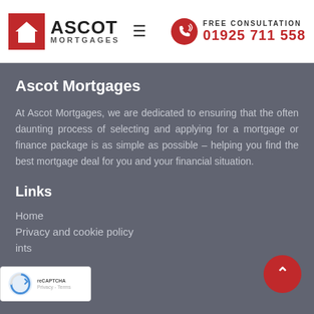Ascot Mortgages | FREE CONSULTATION 01925 711 558
Ascot Mortgages
At Ascot Mortgages, we are dedicated to ensuring that the often daunting process of selecting and applying for a mortgage or finance package is as simple as possible – helping you find the best mortgage deal for you and your financial situation.
Links
Home
Privacy and cookie policy
ints